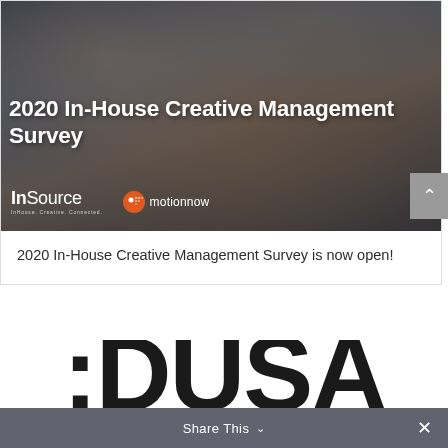[Figure (photo): Cover image of the 2020 In-House Creative Management Survey showing people laughing and talking at a table, with InSource and inMotionNow logos overlaid, and large white text reading '2020 In-House Creative Management Survey']
2020 In-House Creative Management Survey is now open!
[Figure (other): Partially visible large bold watermark text ':DUSA' in dark color at the bottom of the page, with a 'Share This' bar overlay at the very bottom]